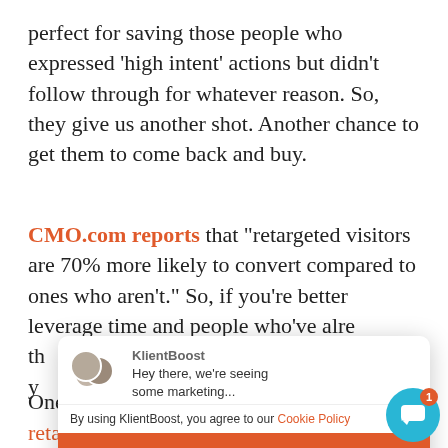perfect for saving those people who expressed 'high intent' actions but didn't follow through for whatever reason. So, they give us another shot. Another chance to get them to come back and buy.
CMO.com reports that "retargeted visitors are 70% more likely to convert compared to ones who aren't." So, if you're better leverage time and people who've already th y
[Figure (screenshot): KlientBoost chat popup with avatar group, message 'Hey there, we're seeing some marketing...', cookie policy notice, and red Accept button]
One technique is through sequential retargeting